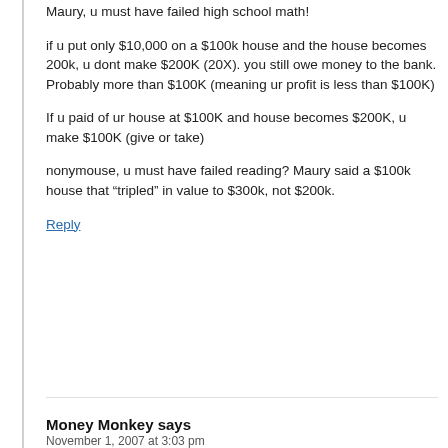Maury, u must have failed high school math!
if u put only $10,000 on a $100k house and the house becomes 200k, u dont make $200K (20X). you still owe money to the bank. Probably more than $100K (meaning ur profit is less than $100K)
If u paid of ur house at $100K and house becomes $200K, u make $100K (give or take)
nonymouse, u must have failed reading? Maury said a $100k house that “tripled” in value to $300k, not $200k.
Reply
Money Monkey says
November 1, 2007 at 3:03 pm